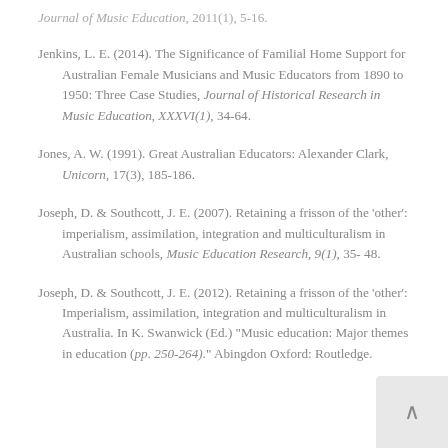Journal of Music Education, 2011(1), 5-16.
Jenkins, L. E. (2014). The Significance of Familial Home Support for Australian Female Musicians and Music Educators from 1890 to 1950: Three Case Studies, Journal of Historical Research in Music Education, XXXVI(1), 34-64.
Jones, A. W. (1991). Great Australian Educators: Alexander Clark, Unicorn, 17(3), 185-186.
Joseph, D. & Southcott, J. E. (2007). Retaining a frisson of the 'other': imperialism, assimilation, integration and multiculturalism in Australian schools, Music Education Research, 9(1), 35-48.
Joseph, D. & Southcott, J. E. (2012). Retaining a frisson of the 'other': Imperialism, assimilation, integration and multiculturalism in Australia. In K. Swanwick (Ed.) "Music education: Major themes in education (pp. 250-264)." Abingdon Oxford: Routledge.